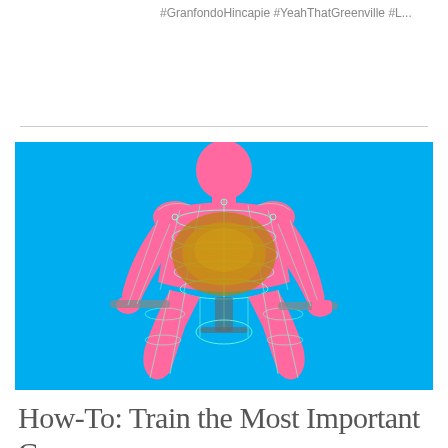#GranfondoHincapie #YeahThatGreenville #L...
[Figure (illustration): 3D rendered illustration of a cyclist on a bicycle against a bright blue background. The figure is rendered in a pink/magenta color with a cyan wireframe overlay on the torso and legs. The core/abdominal area is highlighted in a golden/amber color, suggesting the core muscles. The cyclist is in a riding position gripping handlebars.]
How-To: Train the Most Important Core Muscles for Cycling